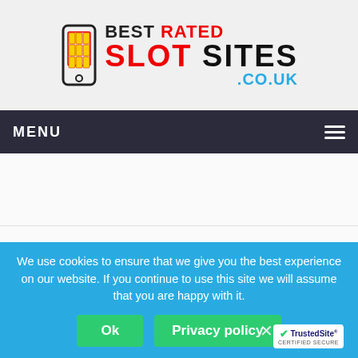[Figure (logo): Best Rated Slot Sites .co.uk website logo with mobile phone icon]
MENU
[Figure (logo): Regent Casino logo - white text on black background]
REGENT CASINO
£200
Fantastic and highly engaging branding
A wide range of exciting slots
We use cookies to ensure that we give you the best experience on our website. If you continue to use this site we will assume that you are happy with it.